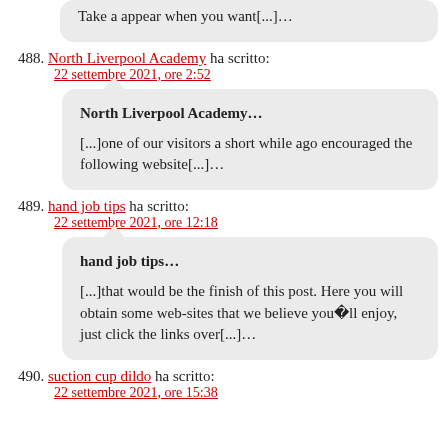Take a appear when you want[...]…
488. North Liverpool Academy ha scritto:
22 settembre 2021, ore 2:52
North Liverpool Academy…
[...]one of our visitors a short while ago encouraged the following website[...]…
489. hand job tips ha scritto:
22 settembre 2021, ore 12:18
hand job tips…
[...]that would be the finish of this post. Here you will obtain some web-sites that we believe you'll enjoy, just click the links over[...]…
490. suction cup dildo ha scritto:
22 settembre 2021, ore 15:38